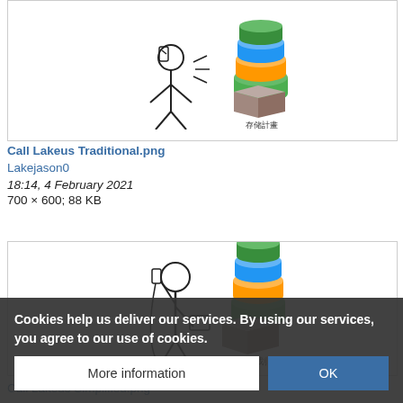[Figure (illustration): Partial view of a line-art illustration showing a figure on the phone next to a layered stack of colorful icons and a brown cube labeled 存储計畫 (storage plan), cropped at top.]
Call Lakeus Traditional.png
Lakejason0
18:14, 4 February 2021
700 × 600; 88 KB
[Figure (illustration): Line-art illustration of a person on the telephone with Chinese text '这种情况你应该致电' (In this case you should call), a colorful layered stack of platform icons, and a brown cube labeled 存储計划 (storage plan).]
Call Lakeus Simplified.png
18:13, 4 February 2021
700 × 600; 8
Cookies help us deliver our services. By using our services, you agree to our use of cookies.
More information
OK